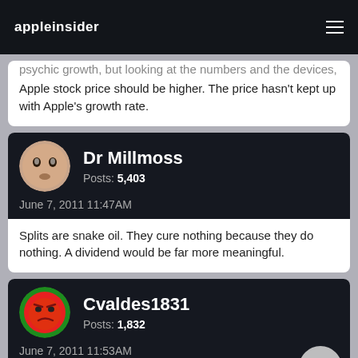appleinsider
psychic growth, but looking at the numbers and the devices, Apple stock price should be higher. The price hasn't kept up with Apple's growth rate.
Dr Millmoss
Posts: 5,403
June 7, 2011 11:47AM
Splits are snake oil. They cure nothing because they do nothing. A dividend would be far more meaningful.
Cvaldes1831
Posts: 1,832
June 7, 2011 11:53AM
Quote: